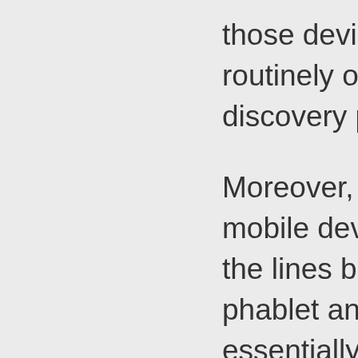those devices aren't backed up routinely or sufficiently for the discovery purpose. Moreover, a laptop is as much a mobile device as anything – heck, the lines between laptop, tablet, phablet and smartphone are essentially non-existent, with one caveat. The fundamental difference is when the device is intended and used as a viewer of data held somewhere else, whether the cloud or on premise behind the corporate firewall. Understanding that difference is to me the real measure